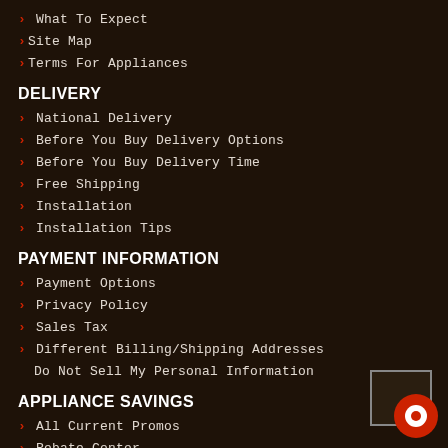> What To Expect
>Site Map
>Terms For Appliances
DELIVERY
> National Delivery
> Before You Buy Delivery Options
> Before You Buy Delivery Time
> Free Shipping
> Installation
> Installation Tips
PAYMENT INFORMATION
> Payment Options
> Privacy Policy
> Sales Tax
> Different Billing/Shipping Addresses
Do Not Sell My Personal Information
APPLIANCE SAVINGS
> All Current Promos
> Rebate Center